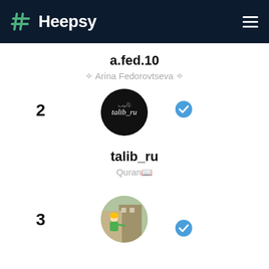[Figure (logo): Heepsy logo with hash icon on dark navy header]
a.fed.10
✧ Arina Fedorovtseva ✧
2
[Figure (photo): Black circular avatar with cursive 'talib_ru' text, with blue verified badge]
talib_ru
Quran📖
3
[Figure (photo): Circular avatar showing a person in green shirt at a construction site, with blue verified badge]